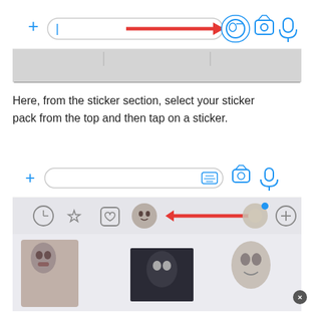[Figure (screenshot): iOS Messages app input bar with a red arrow pointing to a sticker button (circle with sticker icon) on the right side of the text field. Plus button on left, camera and mic icons on right. Below is a grey keyboard area.]
Here, from the sticker section, select your sticker pack from the top and then tap on a sticker.
[Figure (screenshot): iOS Messages app showing the sticker picker panel. Top bar has plus, text input pill with keyboard icon, camera, and mic. Below is a sticker category row with clock, star, heart, a person (Iron Man) icon with red arrow pointing to it, and a partial sticker, plus a plus button on far right. Below are sticker images showing Iron Man, a dark figure, and Spider-Man faces.]